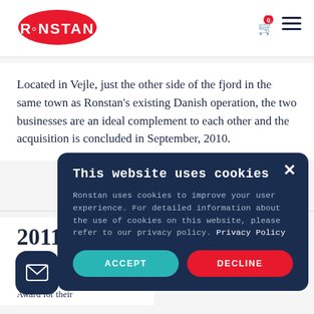RONSTAN
Located in Vejle, just the other side of the fjord in the same town as Ronstan's existing Danish operation, the two businesses are an ideal complement to each other and the acquisition is concluded in September, 2010.
2011
CORE BL... PRESTIG...
Ronstan is awarded the Red Dot Award for their
[Figure (screenshot): Cookie consent modal on Ronstan website with title 'This website uses cookies', body text about privacy policy, and two buttons: ACCEPT and DECLINE]
This website uses cookies
Ronstan uses cookies to improve your user experience. For detailed information about the use of cookies on this website, please refer to our privacy policy. Privacy Policy
ACCEPT
DECLINE